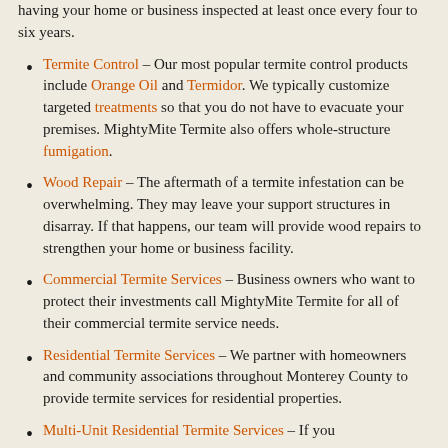having your home or business inspected at least once every four to six years.
Termite Control – Our most popular termite control products include Orange Oil and Termidor. We typically customize targeted treatments so that you do not have to evacuate your premises. MightyMite Termite also offers whole-structure fumigation.
Wood Repair – The aftermath of a termite infestation can be overwhelming. They may leave your support structures in disarray. If that happens, our team will provide wood repairs to strengthen your home or business facility.
Commercial Termite Services – Business owners who want to protect their investments call MightyMite Termite for all of their commercial termite service needs.
Residential Termite Services – We partner with homeowners and community associations throughout Monterey County to provide termite services for residential properties.
Multi-Unit Residential Termite Services – If you